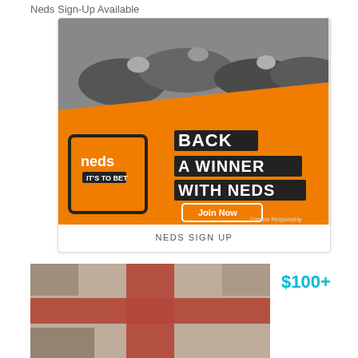Neds Sign-Up Available
[Figure (illustration): Neds betting advertisement showing horse racing in black and white at top, with orange background, phone showing Neds app, text 'BACK A WINNER WITH NEDS', Join Now button, and Gamble Responsibly text]
NEDS SIGN UP
[Figure (photo): England flag (St George's Cross - white background with red cross) with aged/grunge texture]
$100+